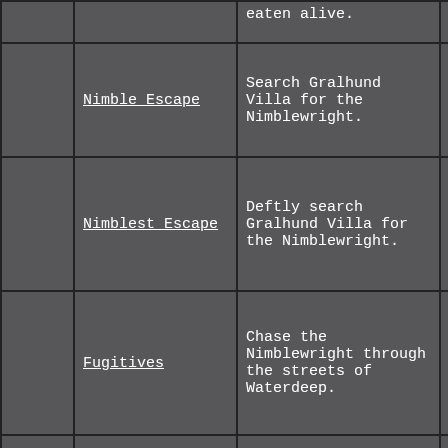|  | Name | Description | Date |
| --- | --- | --- | --- |
|  |  | eaten alive. |  |
|  | Nimble Escape | Search Gralhund Villa for the Nimblewright. | 02/22/2 |
|  | Nimblest Escape | Deftly search Gralhund Villa for the Nimblewright. | 02/22/2 |
|  | Fugitives | Chase the Nimblewright through the streets of Waterdeep. | 02/22/2 |
|  | From The Shadows | Chase the Nimblewright through the streets of Waterdeep from a safe distance. | 02/22/2 |
|  |  | Rescue a band of foolish |  |